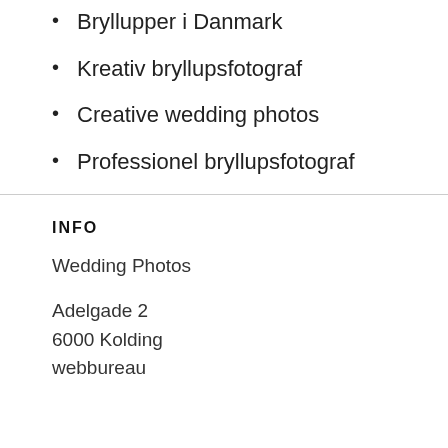Bryllupper i Danmark
Kreativ bryllupsfotograf
Creative wedding photos
Professionel bryllupsfotograf
INFO
Wedding Photos
Adelgade 2
6000 Kolding
webbureau